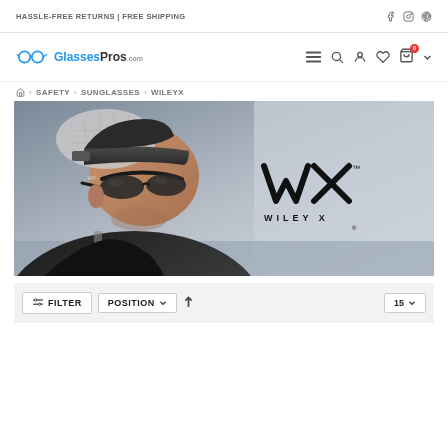HASSLE-FREE RETURNS | FREE SHIPPING
[Figure (logo): GlassesPros.com logo with glasses icon and blue/black text]
[Figure (infographic): Navigation icons: hamburger menu, search, user, heart, shopping bag with 0 badge, chevron]
SAFETY > SUNGLASSES > WILEYX
[Figure (photo): Man wearing WileyX sunglasses and a cap, side profile view with WX Wiley X logo overlay]
[Figure (infographic): Filter bar with FILTER button, POSITION dropdown, sort arrow, and 15 per-page dropdown]